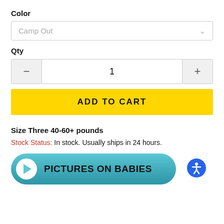Color
Camp Out
Qty
1
ADD TO CART
Size Three 40-60+ pounds
Stock Status: In stock. Usually ships in 24 hours.
[Figure (other): Button with play icon and text PICTURES ON BABIES on a teal/cyan gradient rounded rectangle background]
[Figure (other): Blue circular accessibility icon button]